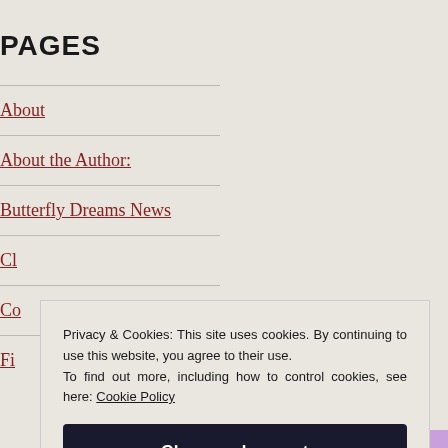PAGES
About
About the Author:
Butterfly Dreams News
Cl…
Co…
Fi…
Privacy & Cookies: This site uses cookies. By continuing to use this website, you agree to their use.
To find out more, including how to control cookies, see here: Cookie Policy
Close and accept